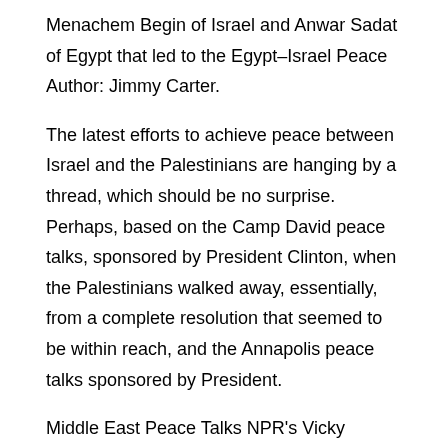Menachem Begin of Israel and Anwar Sadat of Egypt that led to the Egypt–Israel Peace Author: Jimmy Carter.
The latest efforts to achieve peace between Israel and the Palestinians are hanging by a thread, which should be no surprise. Perhaps, based on the Camp David peace talks, sponsored by President Clinton, when the Palestinians walked away, essentially, from a complete resolution that seemed to be within reach, and the Annapolis peace talks sponsored by President.
Middle East Peace Talks NPR's Vicky O'Hara reports from New York on the joint effort by the United States, Russia, the European Union, and the United Nations, working as the so-called 'Quartet' to. Former Secretary of State John Kerry reportedly sabotaged President Trump's renewed Middle East peace talks, telling Palestinian Authority President Mahmoud Abbas to “stay strong” against Trump's demands and telling the Arab leader the President would likely be removed from office within one year.
The President believes that no region is more fundamental to the